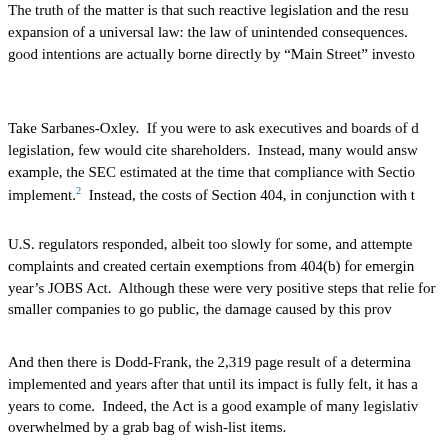The truth of the matter is that such reactive legislation and the result expansion of a universal law: the law of unintended consequences. good intentions are actually borne directly by "Main Street" investo
Take Sarbanes-Oxley. If you were to ask executives and boards of legislation, few would cite shareholders. Instead, many would answ example, the SEC estimated at the time that compliance with Sectio implement.2 Instead, the costs of Section 404, in conjunction with t
U.S. regulators responded, albeit too slowly for some, and attempte complaints and created certain exemptions from 404(b) for emergin year's JOBS Act. Although these were very positive steps that relie for smaller companies to go public, the damage caused by this prov
And then there is Dodd-Frank, the 2,319 page result of a determina implemented and years after that until its impact is fully felt, it has a years to come. Indeed, the Act is a good example of many legislativ overwhelmed by a grab bag of wish-list items.
Of course this shouldn't be a surprise given that the statute was not